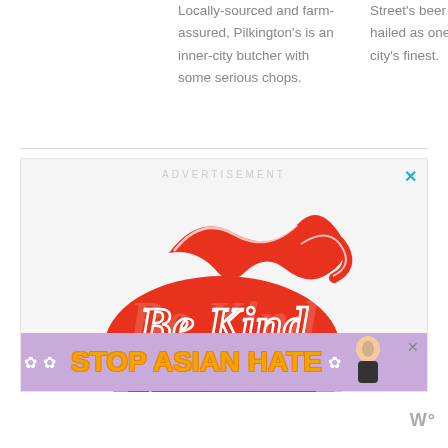Locally-sourced and farm-assured, Pilkington's is an inner-city butcher with some serious chops.
Street's beer garden is hailed as one of the city's finest.
[Figure (illustration): Decorative 'Be Kind' lettering art in red, pink, and orange/yellow retro style]
[Figure (infographic): Stop Asian Hate banner advertisement with purple background, orange bold text, white daisy flowers, and an anime-style character]